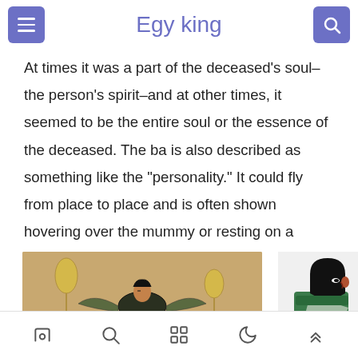describe.
Egy king
At times it was a part of the deceased's soul–the person's spirit–and at other times, it seemed to be the entire soul or the essence of the deceased. The ba is also described as something like the "personality." It could fly from place to place and is often shown hovering over the mummy or resting on a shrine.
[Figure (photo): Ancient Egyptian painting on golden/amber background depicting a bird with human head (ba) hovering, with canopic jars and lotus flower stands]
[Figure (illustration): Illustration of an ancient Egyptian figure in profile, wearing a green garment with black hair]